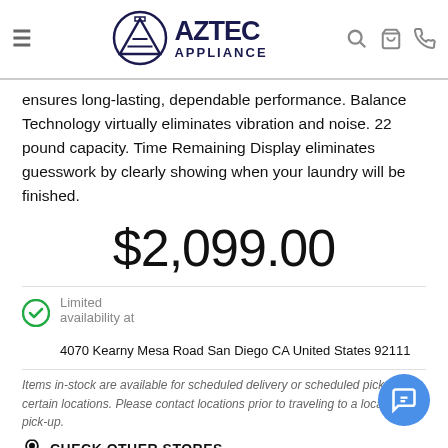Aztec Appliance
ensures long-lasting, dependable performance. Balance Technology virtually eliminates vibration and noise. 22 pound capacity. Time Remaining Display eliminates guesswork by clearly showing when your laundry will be finished.
$2,099.00
Limited availability at  4070 Kearny Mesa Road San Diego CA United States 92111
Items in-stock are available for scheduled delivery or scheduled pick-up at certain locations. Please contact locations prior to traveling to a location for pick-up.
CHECK OTHER STORES